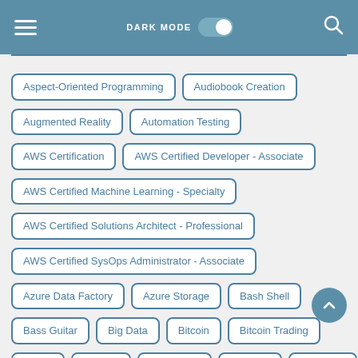DARK MODE (toggle)
Aspect-Oriented Programming
Audiobook Creation
Augmented Reality
Automation Testing
AWS Certification
AWS Certified Developer - Associate
AWS Certified Machine Learning - Specialty
AWS Certified Solutions Architect - Professional
AWS Certified SysOps Administrator - Associate
Azure Data Factory
Azure Storage
Bash Shell
Bass Guitar
Big Data
Bitcoin
Bitcoin Trading
Blazor
Blender
Blockchain
Blogging
Bootstrap
Boto
Bubble Visual Programming
Bug Bounty
Busines
Business
Business Analysis